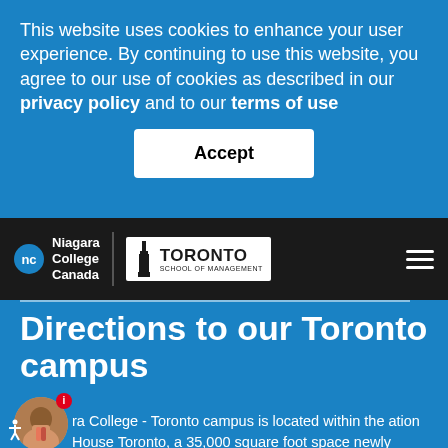This website uses cookies to enhance your user experience. By continuing to use this website, you agree to our use of cookies as described in our privacy policy and to our terms of use
Accept
[Figure (logo): Niagara College Canada logo with nc badge and Toronto School of Management logo in the navigation bar]
Directions to our Toronto campus
Niagara College - Toronto campus is located within the Innovation House Toronto, a 35,000 square foot space with newly renovated classrooms, computer labs, a